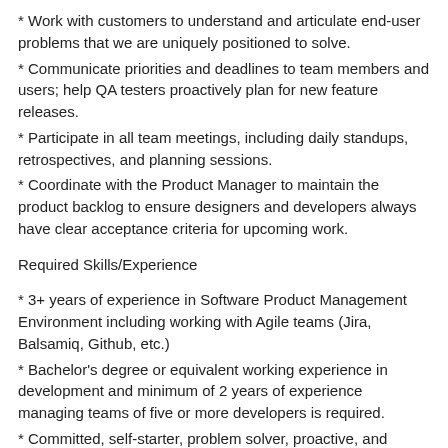* Work with customers to understand and articulate end-user problems that we are uniquely positioned to solve.
* Communicate priorities and deadlines to team members and users; help QA testers proactively plan for new feature releases.
* Participate in all team meetings, including daily standups, retrospectives, and planning sessions.
* Coordinate with the Product Manager to maintain the product backlog to ensure designers and developers always have clear acceptance criteria for upcoming work.
Required Skills/Experience
* 3+ years of experience in Software Product Management Environment including working with Agile teams (Jira, Balsamiq, Github, etc.)
* Bachelor's degree or equivalent working experience in development and minimum of 2 years of experience managing teams of five or more developers is required.
* Committed, self-starter, problem solver, proactive, and resourceful.
* Very high attention to detail, with an ability to test and verify functionality and fine-tune for best...